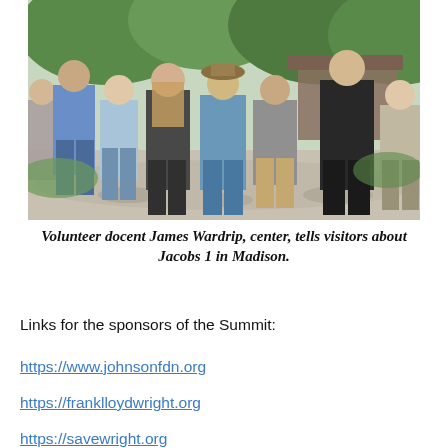[Figure (photo): Outdoor group photo of visitors standing on a path among trees and a building, viewed from behind, with a volunteer docent James Wardrip in the center speaking to the group at Jacobs 1 in Madison.]
Volunteer docent James Wardrip, center, tells visitors about Jacobs 1 in Madison.
Links for the sponsors of the Summit:
https://www.johnsonfdn.org
https://franklloydwright.org
https://savewright.org